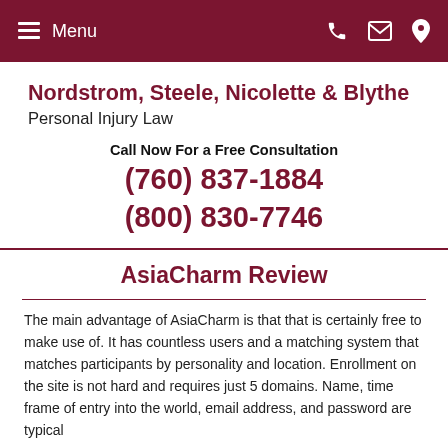Menu | [phone icon] [email icon] [location icon]
Nordstrom, Steele, Nicolette & Blythe Personal Injury Law
Call Now For a Free Consultation
(760) 837-1884
(800) 830-7746
AsiaCharm Review
The main advantage of AsiaCharm is that that is certainly free to make use of. It has countless users and a matching system that matches participants by personality and location. Enrollment on the site is not hard and requires just 5 domains. Name, time frame of entry into the world, email address, and password are typical